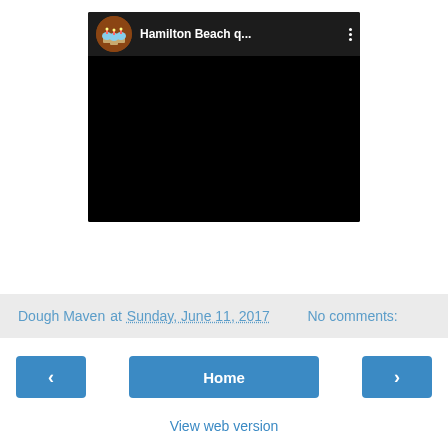[Figure (screenshot): Embedded video player showing a YouTube-style video with channel icon (cupcakes image), channel name 'Hamilton Beach q...', three-dot menu icon, and black video body area]
Dough Maven at Sunday, June 11, 2017   No comments:
< Home >
View web version